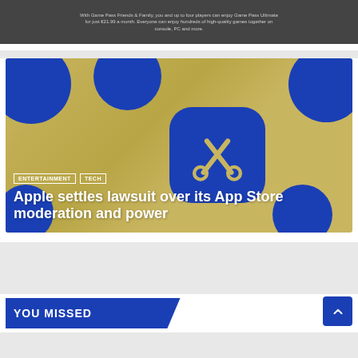[Figure (screenshot): Top partial article card showing a cropped image with small text about Game Pass Family sharing, partially visible at top of page]
[Figure (illustration): Article card image for Apple App Store lawsuit article. Blue decorative circles/bubbles on golden/tan background with a blue rounded-square App Store scissors icon in center]
ENTERTAINMENT
TECH
Apple settles lawsuit over its App Store moderation and power
[Figure (screenshot): YOU MISSED section header bar in blue with angled right edge, and a blue scroll-to-top button with upward chevron arrow on the right]